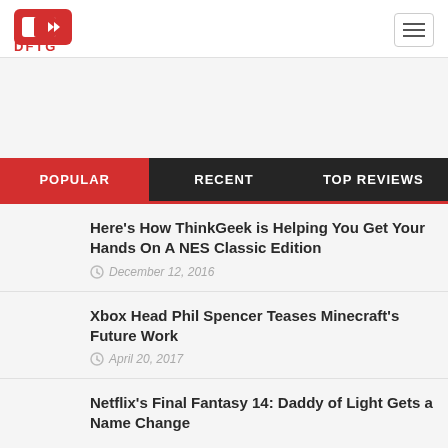[Figure (logo): DFTG website logo with red icon and red text]
POPULAR | RECENT | TOP REVIEWS
Here's How ThinkGeek is Helping You Get Your Hands On A NES Classic Edition — December 12, 2016
Xbox Head Phil Spencer Teases Minecraft's Future Work — April 20, 2017
Netflix's Final Fantasy 14: Daddy of Light Gets a Name Change